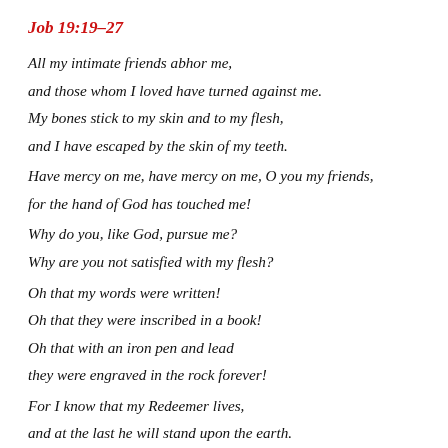Job 19:19-27
All my intimate friends abhor me,
and those whom I loved have turned against me.
My bones stick to my skin and to my flesh,
and I have escaped by the skin of my teeth.
Have mercy on me, have mercy on me, O you my friends,
for the hand of God has touched me!
Why do you, like God, pursue me?
Why are you not satisfied with my flesh?
Oh that my words were written!
Oh that they were inscribed in a book!
Oh that with an iron pen and lead
they were engraved in the rock forever!
For I know that my Redeemer lives,
and at the last he will stand upon the earth.